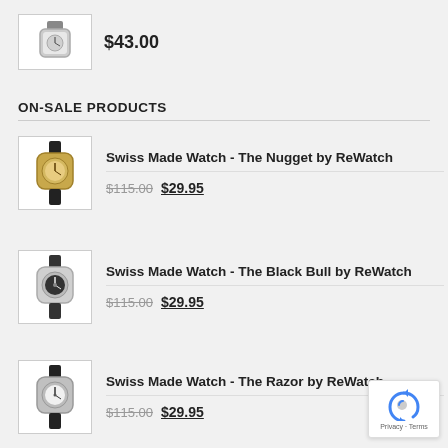[Figure (photo): Top portion of a watch product image (partially cropped at top)]
$43.00
ON-SALE PRODUCTS
[Figure (photo): Swiss Made Watch - The Nugget by ReWatch, gold face with black strap]
Swiss Made Watch - The Nugget by ReWatch
$115.00  $29.95
[Figure (photo): Swiss Made Watch - The Black Bull by ReWatch, dark face with silver case]
Swiss Made Watch - The Black Bull by ReWatch
$115.00  $29.95
[Figure (photo): Swiss Made Watch - The Razor by ReWatch, white/light face with dark strap]
Swiss Made Watch - The Razor by ReWatch
$115.00  $29.95